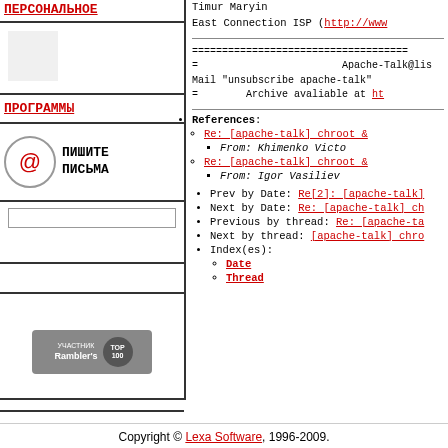ПЕРСОНАЛЬНОЕ
ПРОГРАММЫ
ПИШИТЕ ПИСЬМА
Timur Maryin
East Connection ISP (http://www...
==============================
= Apache-Talk@lis
Mail "unsubscribe apache-talk"
= Archive avaliable at ht...
References:
Re: [apache-talk] chroot &
From: Khimenko Victo
Re: [apache-talk] chroot &
From: Igor Vasiliev
Prev by Date: Re[2]: [apache-talk]
Next by Date: Re: [apache-talk] ch
Previous by thread: Re: [apache-ta
Next by thread: [apache-talk] chro
Index(es):
Date
Thread
Copyright © Lexa Software, 1996-2009.